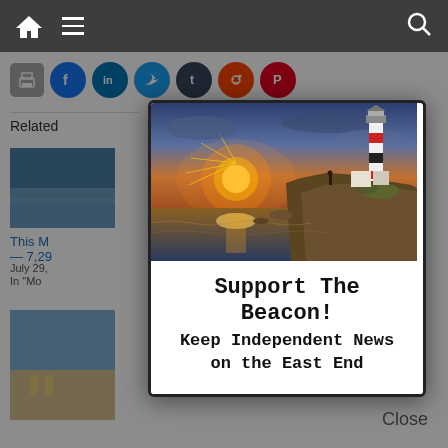[Figure (screenshot): Website navigation bar with home icon, hamburger menu, and search icon on dark gray background]
[Figure (screenshot): Social sharing icons row: print, Facebook, LinkedIn, Twitter, Tumblr, Reddit, Pinterest]
Related
[Figure (photo): Thumbnail photo of ocean/beach scene]
This M — 7,29
July 29,
In "Mo
[Figure (photo): Thumbnail photo of beach chairs]
[Figure (illustration): Modal popup advertisement for The Beacon newspaper showing lighthouse at sunset with text: Support The Beacon! Keep Independent News on the East End]
Close